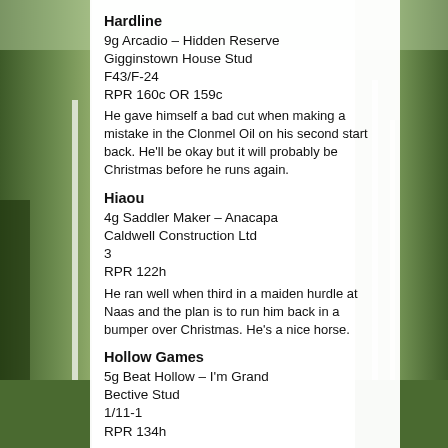[Figure (photo): Outdoor horse racing track with green grass, white railings and trees in the background. Partially visible on left and right sides of the page behind a white content overlay.]
Hardline
9g Arcadio – Hidden Reserve
Gigginstown House Stud
F43/F-24
RPR 160c OR 159c
He gave himself a bad cut when making a mistake in the Clonmel Oil on his second start back. He'll be okay but it will probably be Christmas before he runs again.
Hiaou
4g Saddler Maker – Anacapa
Caldwell Construction Ltd
3
RPR 122h
He ran well when third in a maiden hurdle at Naas and the plan is to run him back in a bumper over Christmas. He's a nice horse.
Hollow Games
5g Beat Hollow – I'm Grand
Bective Stud
1/11-1
RPR 134h
He won well at Down Royal and we could look at the Monksfield Novice Hurdle at Navan next. He doesn't do